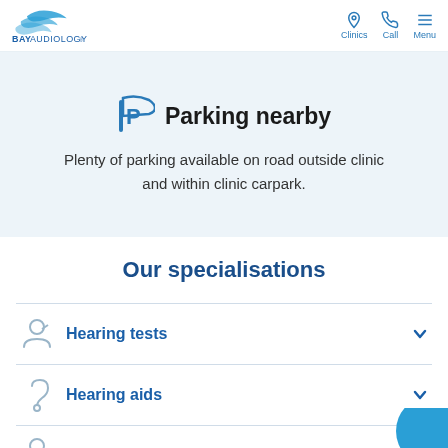Bay Audiology — Clinics | Call | Menu
Parking nearby
Plenty of parking available on road outside clinic and within clinic carpark.
Our specialisations
Hearing tests
Hearing aids